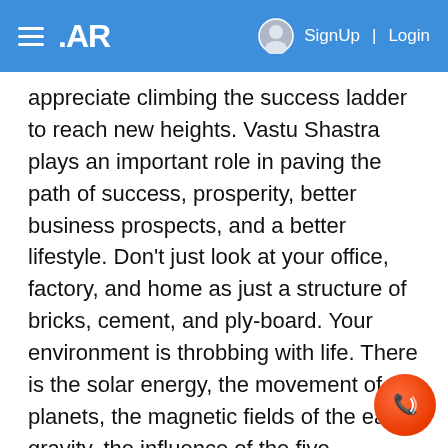AR | SignUp | Login
appreciate climbing the success ladder to reach new heights. Vastu Shastra plays an important role in paving the path of success, prosperity, better business prospects, and a better lifestyle. Don't just look at your office, factory, and home as just a structure of bricks, cement, and ply-board. Your environment is throbbing with life. There is the solar energy, the movement of the planets, the magnetic fields of the earth, gravity, the influence of the five essential elements of nature (i.e water ('jal'), fire ('agni'), earth ('prithvi'), sky ('akash'), wind ('vayu), geopathic stress, the global fields, the cosm